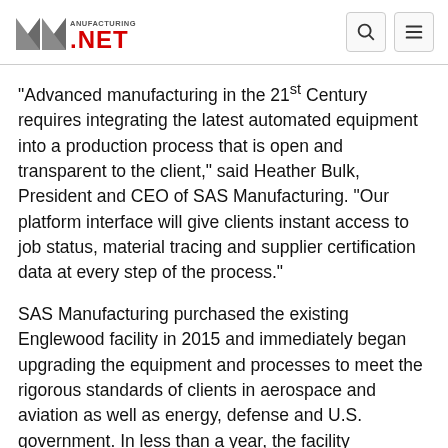Manufacturing NET
"Advanced manufacturing in the 21st Century requires integrating the latest automated equipment into a production process that is open and transparent to the client," said Heather Bulk, President and CEO of SAS Manufacturing. "Our platform interface will give clients instant access to job status, material tracing and supplier certification data at every step of the process."
SAS Manufacturing purchased the existing Englewood facility in 2015 and immediately began upgrading the equipment and processes to meet the rigorous standards of clients in aerospace and aviation as well as energy, defense and U.S. government. In less than a year, the facility